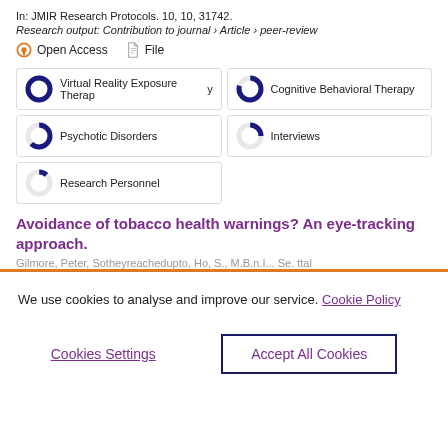In: JMIR Research Protocols. 10, 10, 31742.
Research output: Contribution to journal › Article › peer-review
Open Access   File
Virtual Reality Exposure Therapy
Cognitive Behavioral Therapy
Psychotic Disorders
Interviews
Research Personnel
Avoidance of tobacco health warnings? An eye-tracking approach.
We use cookies to analyse and improve our service. Cookie Policy
Cookies Settings
Accept All Cookies